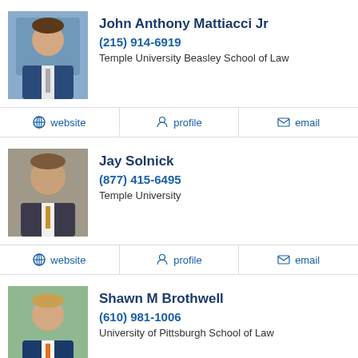John Anthony Mattiacci Jr
(215) 914-6919
Temple University Beasley School of Law
website | profile | email
Jay Solnick
(877) 415-6495
Temple University
website | profile | email
Shawn M Brothwell
(610) 981-1006
University of Pittsburgh School of Law